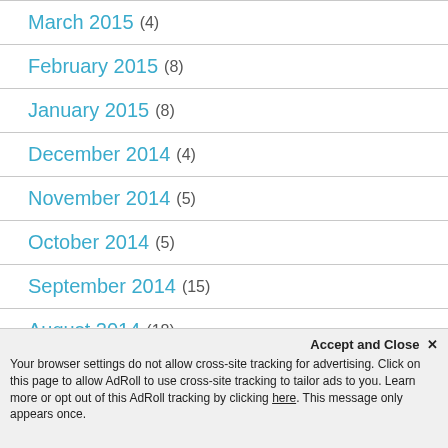March 2015 (4)
February 2015 (8)
January 2015 (8)
December 2014 (4)
November 2014 (5)
October 2014 (5)
September 2014 (15)
August 2014 (18)
July 2014 (8)
June 2014 (5)
Accept and Close ✕ Your browser settings do not allow cross-site tracking for advertising. Click on this page to allow AdRoll to use cross-site tracking to tailor ads to you. Learn more or opt out of this AdRoll tracking by clicking here. This message only appears once.